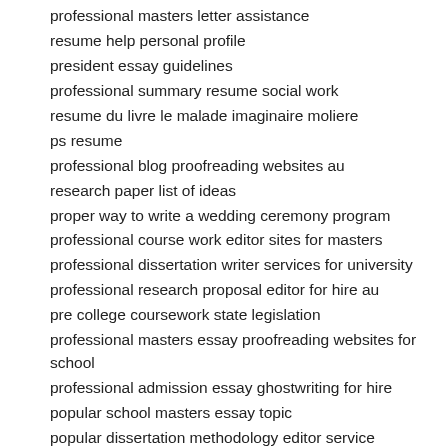professional masters letter assistance
resume help personal profile
president essay guidelines
professional summary resume social work
resume du livre le malade imaginaire moliere
ps resume
professional blog proofreading websites au
research paper list of ideas
proper way to write a wedding ceremony program
professional course work editor sites for masters
professional dissertation writer services for university
professional research proposal editor for hire au
pre college coursework state legislation
professional masters essay proofreading websites for school
professional admission essay ghostwriting for hire
popular school masters essay topic
popular dissertation methodology editor service
resume for computer science engineering freshers
popular literature review writers site for phd
popular university content assistance
research proposal template pages
research paper on universal health care
resume for a desktop publisher
professional mba essay editor for hire uk